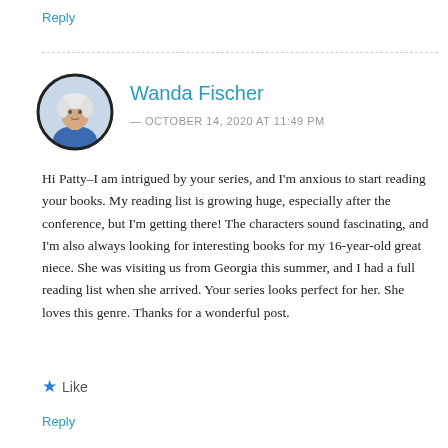Reply
[Figure (photo): Circular avatar photo of Wanda Fischer, an older woman with white hair wearing a blue top, with a dark circular border]
Wanda Fischer
— OCTOBER 14, 2020 AT 11:49 PM
Hi Patty–I am intrigued by your series, and I'm anxious to start reading your books. My reading list is growing huge, especially after the conference, but I'm getting there! The characters sound fascinating, and I'm also always looking for interesting books for my 16-year-old great niece. She was visiting us from Georgia this summer, and I had a full reading list when she arrived. Your series looks perfect for her. She loves this genre. Thanks for a wonderful post.
★ Like
Reply